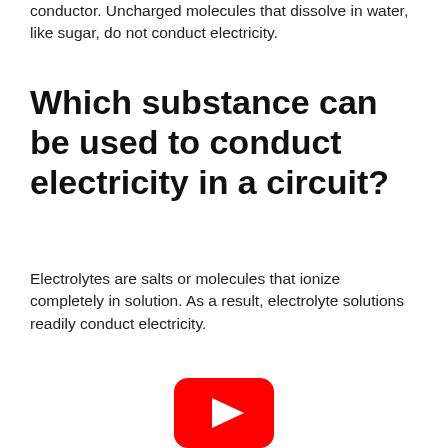conductor. Uncharged molecules that dissolve in water, like sugar, do not conduct electricity.
Which substance can be used to conduct electricity in a circuit?
Electrolytes are salts or molecules that ionize completely in solution. As a result, electrolyte solutions readily conduct electricity.
[Figure (logo): YouTube play button logo — red rounded rectangle with white triangle play icon]